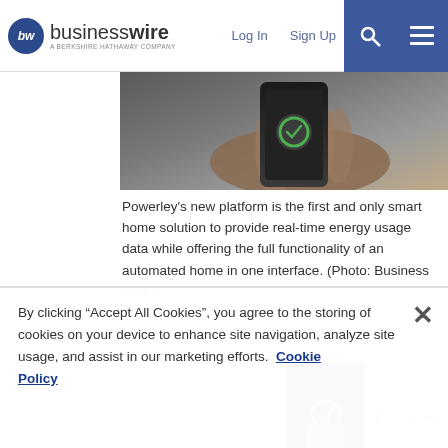businesswire — A Berkshire Hathaway Company | Log In | Sign Up
[Figure (photo): Close-up of a hand holding a smartphone with a green circular icon on screen]
Powerley's new platform is the first and only smart home solution to provide real-time energy usage data while offering the full functionality of an automated home in one interface. (Photo: Business Wire)
[Figure (photo): Thumbnail of a hand holding a smartphone showing the Powerley app]
[Figure (logo): Powerley company logo — orange P icon with 'powerley' text in gray]
January 31, 2017 12:29 PM Eastern Standard Time
By clicking “Accept All Cookies”, you agree to the storing of cookies on your device to enhance site navigation, analyze site usage, and assist in our marketing efforts.
Cookie Policy